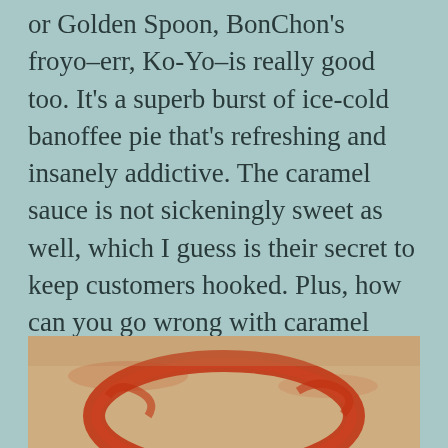or Golden Spoon, BonChon's froyo–err, Ko-Yo–is really good too. It's a superb burst of ice-cold banoffee pie that's refreshing and insanely addictive. The caramel sauce is not sickeningly sweet as well, which I guess is their secret to keep customers hooked. Plus, how can you go wrong with caramel sauce drizzled over bananas? Haha! I promise, you won't get tired of the flavor easily, and instead you'll find it difficult to stop scooping spoonfuls of this cup of yogurt.
[Figure (photo): Close-up photo of a dessert or food item showing red/orange sauce or topping on a tan/brown background, partially visible at the bottom of the page.]